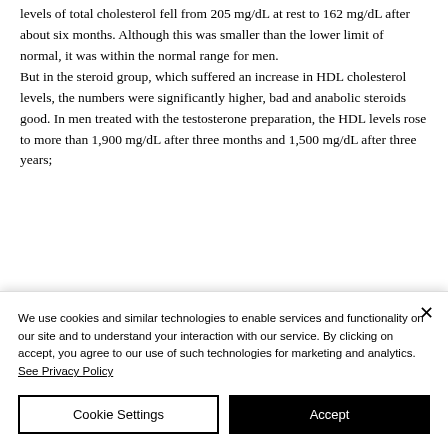levels of total cholesterol fell from 205 mg/dL at rest to 162 mg/dL after about six months. Although this was smaller than the lower limit of normal, it was within the normal range for men.
But in the steroid group, which suffered an increase in HDL cholesterol levels, the numbers were significantly higher, bad and anabolic steroids good. In men treated with the testosterone preparation, the HDL levels rose to more than 1,900 mg/dL after three months and 1,500 mg/dL after three years;
We use cookies and similar technologies to enable services and functionality on our site and to understand your interaction with our service. By clicking on accept, you agree to our use of such technologies for marketing and analytics. See Privacy Policy